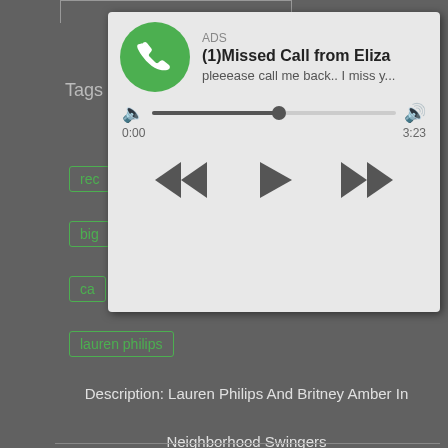[Figure (screenshot): Ad overlay showing a missed call notification with audio player controls. Green phone icon, 'ADS' label, title '(1)Missed Call from Eliza', subtitle 'pleeease call me back.. I miss y...', progress bar showing 0:00 to 3:23, and playback controls (rewind, play, fast-forward).]
Tag
rec
sex
big
ca
lauren philips
Description: Lauren Philips And Britney Amber In Neighborhood Swingers
Related Videos